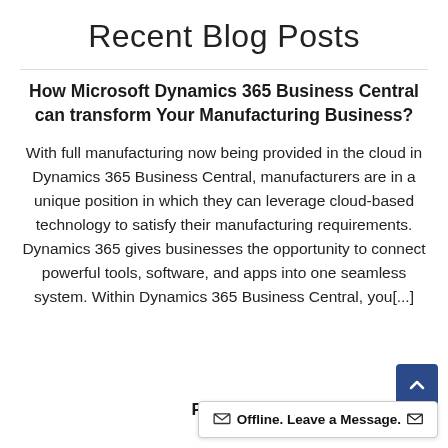Recent Blog Posts
How Microsoft Dynamics 365 Business Central can transform Your Manufacturing Business?
With full manufacturing now being provided in the cloud in Dynamics 365 Business Central, manufacturers are in a unique position in which they can leverage cloud-based technology to satisfy their manufacturing requirements. Dynamics 365 gives businesses the opportunity to connect powerful tools, software, and apps into one seamless system. Within Dynamics 365 Business Central, you[...]
Read Mo...
Offline. Leave a Message.